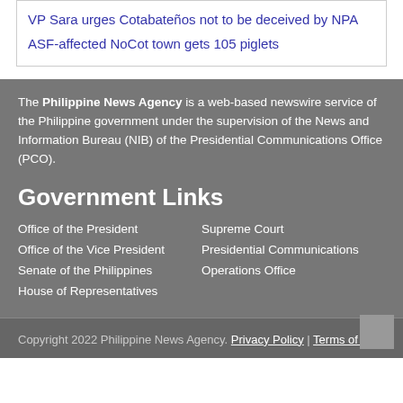VP Sara urges Cotabateños not to be deceived by NPA
ASF-affected NoCot town gets 105 piglets
The Philippine News Agency is a web-based newswire service of the Philippine government under the supervision of the News and Information Bureau (NIB) of the Presidential Communications Office (PCO).
Government Links
Office of the President
Office of the Vice President
Senate of the Philippines
House of Representatives
Supreme Court
Presidential Communications Operations Office
Copyright 2022 Philippine News Agency. Privacy Policy | Terms of Use